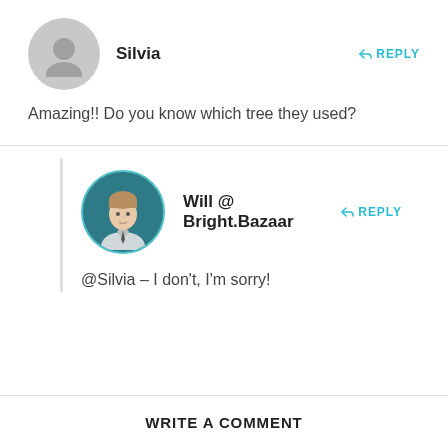[Figure (illustration): Gray default user avatar circle icon for user Silvia]
Silvia
REPLY
Amazing!! Do you know which tree they used?
[Figure (photo): Circular photo of Will @ Bright.Bazaar, a man with light hair in a teal background]
Will @ Bright.Bazaar
REPLY
@Silvia – I don't, I'm sorry!
WRITE A COMMENT